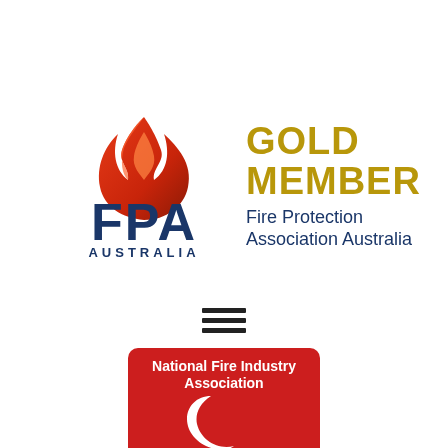[Figure (logo): FPA Australia Gold Member logo. Left side: FPA Australia logo with red flame above blue 'FPA' text and 'AUSTRALIA' below. Right side: 'GOLD MEMBER' in large gold/yellow bold text, 'Fire Protection Association Australia' in dark blue below.]
[Figure (other): Three horizontal black lines (hamburger/menu icon)]
[Figure (logo): National Fire Industry Association badge — red rounded rectangle badge with white text 'National Fire Industry Association' and a white arc/flame icon.]